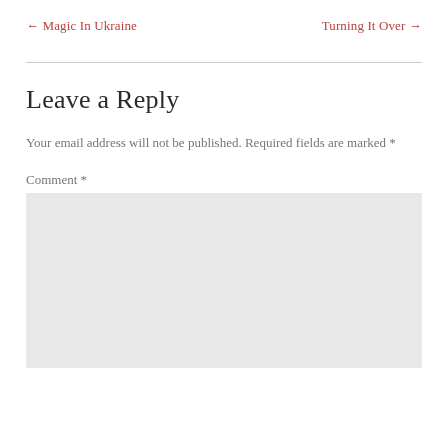← Magic In Ukraine    Turning It Over →
Leave a Reply
Your email address will not be published. Required fields are marked *
Comment *